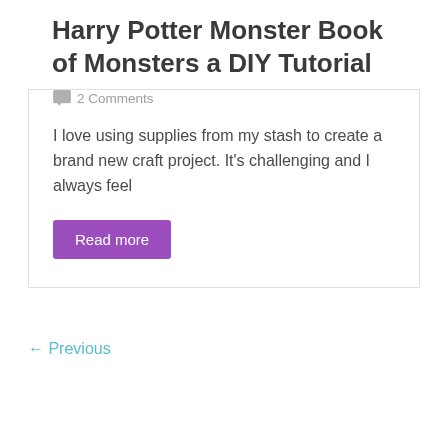Harry Potter Monster Book of Monsters a DIY Tutorial
2 Comments
I love using supplies from my stash to create a brand new craft project. It's challenging and I always feel
Read more
← Previous